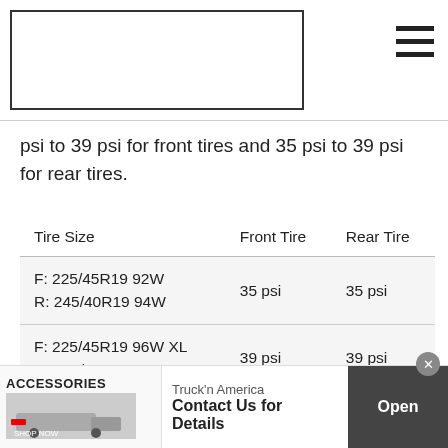[Figure (other): Website header with logo box placeholder and hamburger menu icon]
psi to 39 psi for front tires and 35 psi to 39 psi for rear tires.
| Tire Size | Front Tire | Rear Tire |
| --- | --- | --- |
| F: 225/45R19 92W
R: 245/40R19 94W | 35 psi | 35 psi |
| F: 225/45R19 96W XL
R: 245/40R19 98W XL | 39 psi | 39 psi |
| 245/40R19 94W | 35 psi | 35 psi |
| 255/40R19 96Y | 35 psi | 35 psi |
[Figure (other): Advertisement banner: Truck'n America - Contact Us for Details, with Open button]